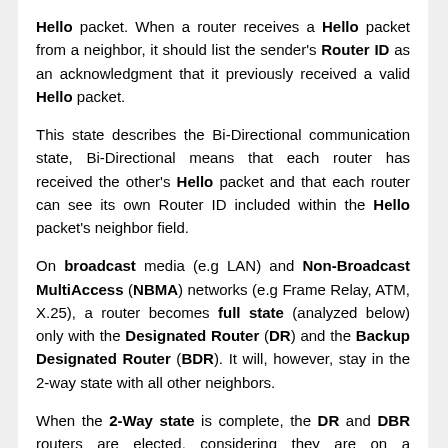Hello packet. When a router receives a Hello packet from a neighbor, it should list the sender's Router ID as an acknowledgment that it previously received a valid Hello packet.
This state describes the Bi-Directional communication state, Bi-Directional means that each router has received the other's Hello packet and that each router can see its own Router ID included within the Hello packet's neighbor field.
On broadcast media (e.g LAN) and Non-Broadcast MultiAccess (NBMA) networks (e.g Frame Relay, ATM, X.25), a router becomes full state (analyzed below) only with the Designated Router (DR) and the Backup Designated Router (BDR). It will, however, stay in the 2-way state with all other neighbors.
When the 2-Way state is complete, the DR and DBR routers are elected, considering they are on a broadcast or NBMA network.
EXSTART STATE
This state specifies that DR and BDR have been elected and